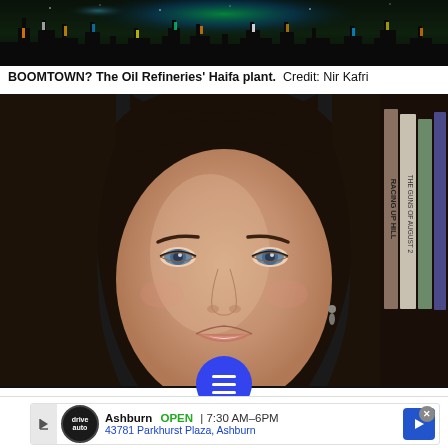[Figure (photo): Night photo of Oil Refineries Haifa plant with industrial silhouette and colorful lights]
BOOMTOWN? The Oil Refineries' Haifa plant.  Credit: Nir Kafri
[Figure (photo): Close-up photo of a woman with dark hair and blue eyes, bookshelves in background including books 'Racing Up Hill' and 'The Guns of August']
[Figure (screenshot): Social media sharing toolbar with Twitter, Facebook, menu button, bookmark, and email icons, plus an advertisement for Ashburn auto dealership showing OPEN 7:30AM-6PM and address 43781 Parkhurst Plaza, Ashburn]